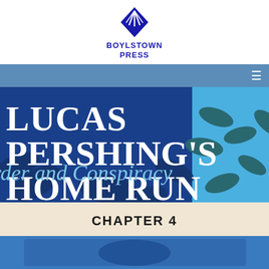[Figure (logo): Boylstown Press logo: blue diamond/fan shape icon above bold blue text reading BOYLSTOWN PRESS]
[Figure (screenshot): Navigation bar with hamburger menu icon on the right, steel blue background]
[Figure (illustration): Book cover banner for 'Lucas Pershing's Home Run: Murder and Conspiracy' — dark blue background with leaf motifs, large white serif title text partially visible, light blue panel on right with dark leaf silhouettes]
CHAPTER 4
[Figure (photo): Partial bottom strip showing a blue-toned photo, cropped at page bottom]